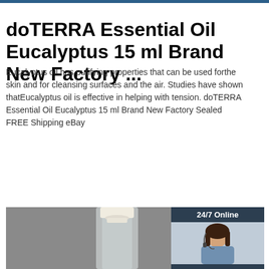doTERRA Essential Oil Eucalyptus 15 ml Brand New Factory ...
Eucalyptus oil has purifying properties that can be used for the skin and for cleansing surfaces and the air. Studies have shown that Eucalyptus oil is effective in helping with tension. doTERRA Essential Oil Eucalyptus 15 ml Brand New Factory Sealed FREE Shipping eBay
[Figure (screenshot): Green 'Get Price' button]
[Figure (photo): Photo of a glass bottle with white cork stopper on gray background, with a chat widget overlay showing a woman with headset, '24/7 Online' text, 'Click here for free chat!' and 'QUOTATION' button, and a TOP logo in orange]